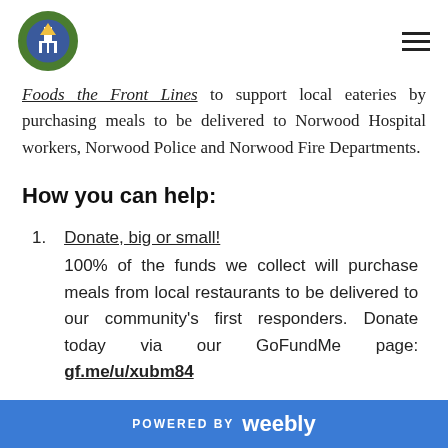[Logo] [Hamburger menu]
Foods the Front Lines to support local eateries by purchasing meals to be delivered to Norwood Hospital workers, Norwood Police and Norwood Fire Departments.
How you can help:
1. Donate, big or small! 100% of the funds we collect will purchase meals from local restaurants to be delivered to our community's first responders. Donate today via our GoFundMe page: gf.me/u/xubm84
2. Share, share, share!
POWERED BY weebly